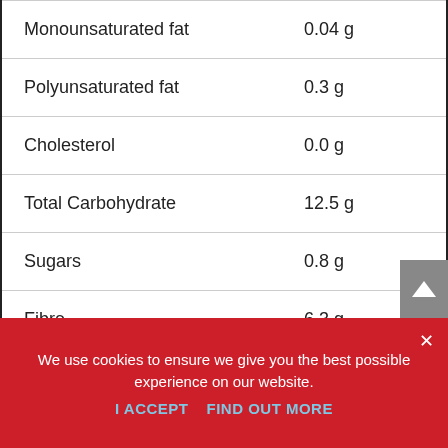| Nutrient | Amount |
| --- | --- |
| Monounsaturated fat | 0.04 g |
| Polyunsaturated fat | 0.3 g |
| Cholesterol | 0.0 g |
| Total Carbohydrate | 12.5 g |
| Sugars | 0.8 g |
| Fibre | 6.3 g |
We use cookies to ensure we give you the best possible experience on our website.
I ACCEPT   FIND OUT MORE